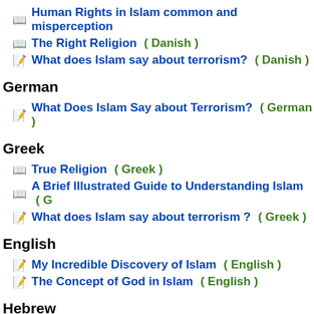📖 Human Rights in Islam common and misperception
📖 The Right Religion  ( Danish )
📝 What does Islam say about terrorism?  ( Danish )
German
📝 What Does Islam Say about Terrorism?  ( German )
Greek
📖 True Religion  ( Greek )
📖 A Brief Illustrated Guide to Understanding Islam  ( G
📝 What does Islam say about terrorism ?  ( Greek )
English
📝 My Incredible Discovery of Islam  ( English )
📝 The Concept of God in Islam  ( English )
Hebrew
📖 A Brief Illustrated Guide to Understanding Islam  ( H